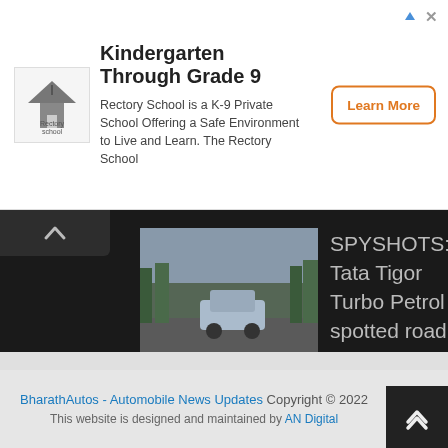[Figure (infographic): Advertisement banner for Rectory School. Logo on left, title 'Kindergarten Through Grade 9', description text, and orange 'Learn More' button on right. Ad icons (arrow and X) in top-right corner.]
[Figure (photo): Thumbnail image of a car on a road (Tata Tigor Turbo Petrol spy shot)]
SPYSHOTS: Tata Tigor Turbo Petrol spotted road testing again
[Figure (photo): Thumbnail image of a KTM motorcycle doing a wheelie (490cc motorcycle)]
REPORT: KTM to roll out a 490cc motorcycle by 2022
TRENDING
BharathAutos - Automobile News Updates Copyright © 2022 This website is designed and maintained by AN Digital